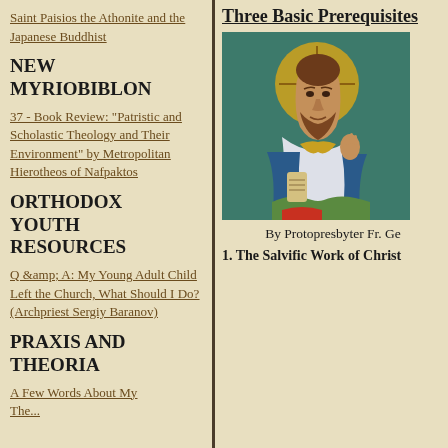Saint Paisios the Athonite and the Japanese Buddhist
NEW MYRIOBIBLON
37 - Book Review: "Patristic and Scholastic Theology and Their Environment" by Metropolitan Hierotheos of Nafpaktos
ORTHODOX YOUTH RESOURCES
Q &amp; A: My Young Adult Child Left the Church, What Should I Do? (Archpriest Sergiy Baranov)
PRAXIS AND THEORIA
A Few Words About My...
Three Basic Prerequisites
[Figure (photo): Orthodox icon painting of Christ/Jesus in Byzantine style, with gold halo, seated figure in white and blue robes, on teal/green background]
By Protopresbyter Fr. Ge
1. The Salvific Work of Christ